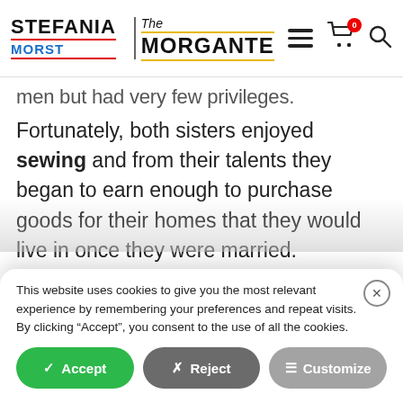[Figure (logo): Stefania Morst / The Morgante website logo with navigation bar including hamburger menu, cart icon with badge showing 0, and search icon]
men but had very few privileges.
Fortunately, both sisters enjoyed sewing and from their talents they began to earn enough to purchase goods for their homes that they would live in once they were married.
The two sisters had learned to sew from an
This website uses cookies to give you the most relevant experience by remembering your preferences and repeat visits. By clicking “Accept”, you consent to the use of all the cookies.